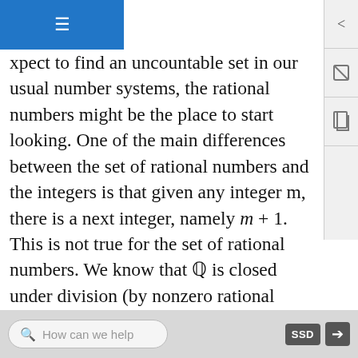xpect to find an uncountable set in our usual number systems, the rational numbers might be the place to start looking. One of the main differences between the set of rational numbers and the integers is that given any integer m, there is a next integer, namely m + 1. This is not true for the set of rational numbers. We know that Q is closed under division (by nonzero rational numbers) and we will see that this property implies that given any two rational numbers, we can also find a rational number between them. In fact, between any two rational numbers, we can find infinitely many rational numbers. It is this property that may lead us to believe that there are “more” rational numbers than there are integers.